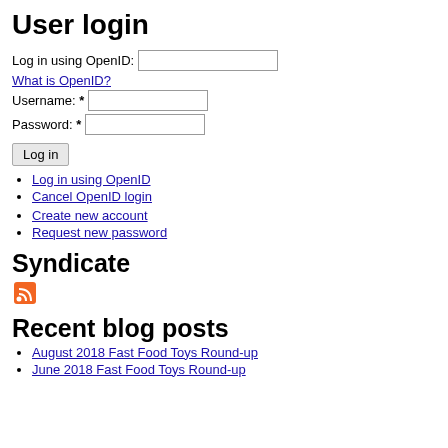User login
Log in using OpenID:
What is OpenID?
Username: *
Password: *
Log in
Log in using OpenID
Cancel OpenID login
Create new account
Request new password
Syndicate
[Figure (illustration): RSS feed icon - orange square with white wifi-style signal bars]
Recent blog posts
August 2018 Fast Food Toys Round-up
June 2018 Fast Food Toys Round-up